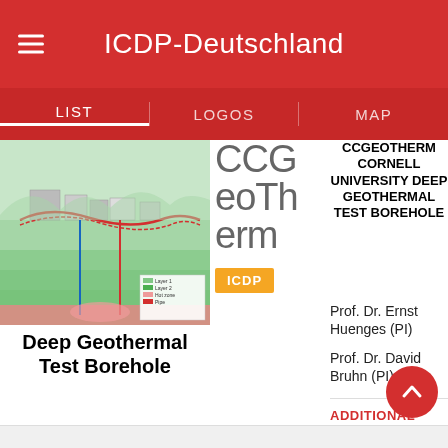ICDP-Deutschland
LIST | LOGOS | MAP
[Figure (illustration): Geothermal borehole site illustration showing underground infrastructure, pipelines, and geological layers with color legend]
Deep Geothermal Test Borehole
CCGeoTherm
ICDP
CCGeoTHERM CORNELL UNIVERSITY DEEP GEOTHERMAL TEST BOREHOLE
Prof. Dr. Ernst Huenges (PI)
Prof. Dr. David Bruhn (PI)
ADDITIONAL INFORMATION